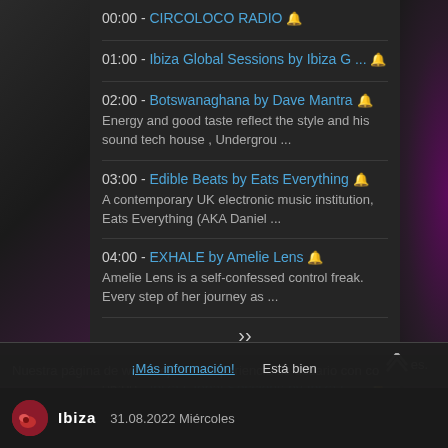00:00 - CIRCOLOCO RADIO 🔔
01:00 - Ibiza Global Sessions by Ibiza G ... 🔔
02:00 - Botswanaghana by Dave Mantra 🔔
Energy and good taste reflect the style and his sound tech house , Undergrou ...
03:00 - Edible Beats by Eats Everything 🔔
A contemporary UK electronic music institution, Eats Everything (AKA Daniel ...
04:00 - EXHALE by Amelie Lens 🔔
Amelie Lens is a self-confessed control freak. Every step of her journey as ...
05:00 - Ibiza Global Sessions by Ibiza G ... 🔔
In Ibiza Global Sessions we offer you a variety of Di...
Nuestra página de web mejora la experiencia de usuario con co...es.
¡Más información!   Está bien
31.08.2022 Miércoles